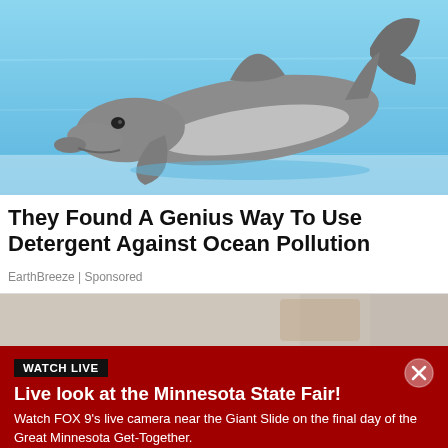[Figure (photo): A dolphin swimming in bright blue water, viewed from the side with tail raised.]
They Found A Genius Way To Use Detergent Against Ocean Pollution
EarthBreeze | Sponsored
[Figure (photo): Partially visible background photo, blurred warm tones.]
WATCH LIVE
Live look at the Minnesota State Fair!
Watch FOX 9's live camera near the Giant Slide on the final day of the Great Minnesota Get-Together.